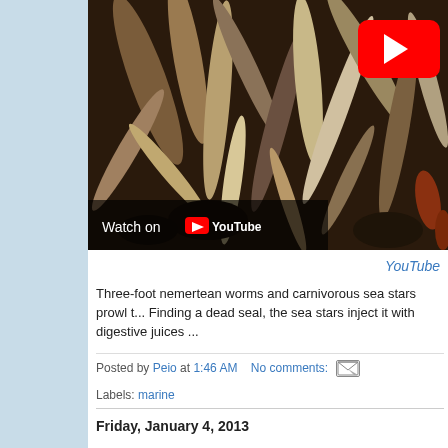[Figure (screenshot): YouTube video thumbnail showing nemertean worms and sea stars underwater, with YouTube play button in top right and 'Watch on YouTube' bar at bottom left]
YouTube
Three-foot nemertean worms and carnivorous sea stars prowl t... Finding a dead seal, the sea stars inject it with digestive juices ...
Posted by Peio at 1:46 AM   No comments:
Labels: marine
Friday, January 4, 2013